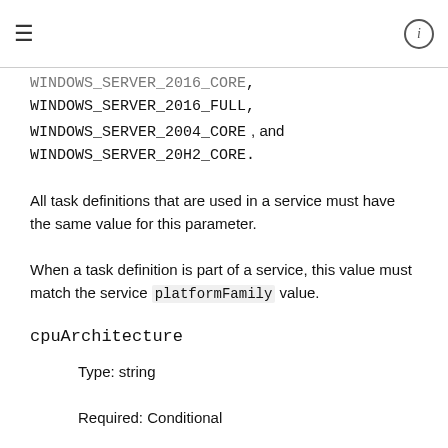≡   ⓘ
WINDOWS_SERVER_2016_CORE,
WINDOWS_SERVER_2016_FULL,
WINDOWS_SERVER_2004_CORE, and
WINDOWS_SERVER_20H2_CORE.
All task definitions that are used in a service must have the same value for this parameter.
When a task definition is part of a service, this value must match the service platformFamily value.
cpuArchitecture
Type: string
Required: Conditional
Default: X86_64